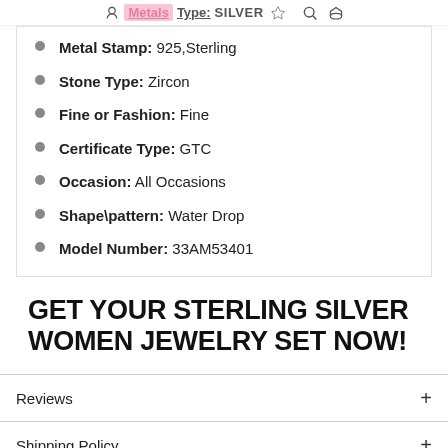Metals Type: SILVER
Metal Stamp: 925,Sterling
Stone Type: Zircon
Fine or Fashion: Fine
Certificate Type: GTC
Occasion: All Occasions
Shape\pattern: Water Drop
Model Number: 33AM53401
GET YOUR STERLING SILVER WOMEN JEWELRY SET NOW!
Reviews
Shipping Policy
Return & Refund Policy